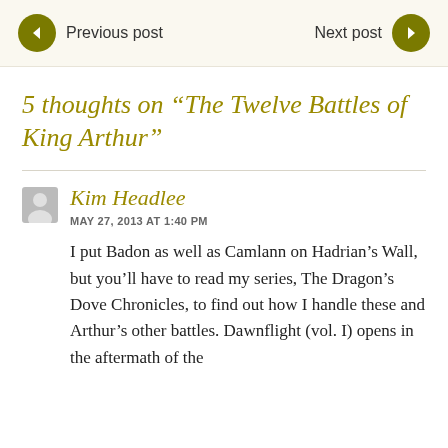Previous post    Next post
5 thoughts on “The Twelve Battles of King Arthur”
Kim Headlee
MAY 27, 2013 AT 1:40 PM
I put Badon as well as Camlann on Hadrian’s Wall, but you’ll have to read my series, The Dragon’s Dove Chronicles, to find out how I handle these and Arthur’s other battles. Dawnflight (vol. I) opens in the aftermath of the